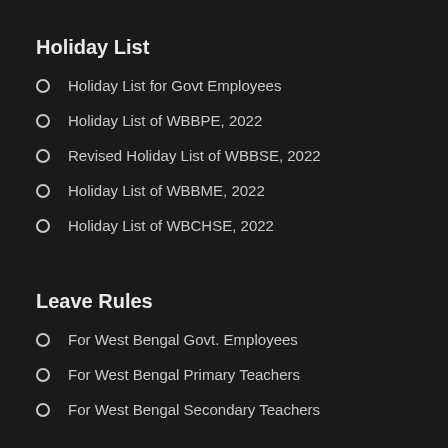Holiday List
Holiday List for Govt Employees
Holiday List of WBBPE, 2022
Revised Holiday List of WBBSE, 2022
Holiday List of WBBME, 2022
Holiday List of WBCHSE, 2022
Leave Rules
For West Bengal Govt. Employees
For West Bengal Primary Teachers
For West Bengal Secondary Teachers